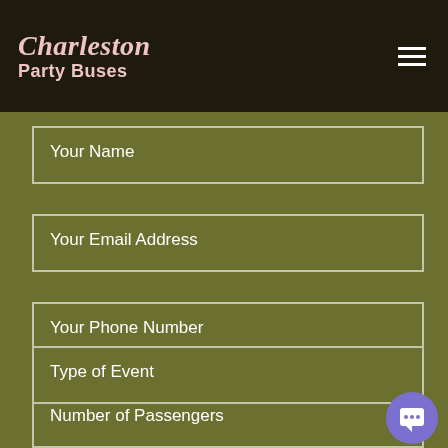Charleston Party Buses
Your Name
Your Email Address
Your Phone Number
Number of Passengers
Type of Event
The Date of Your Event